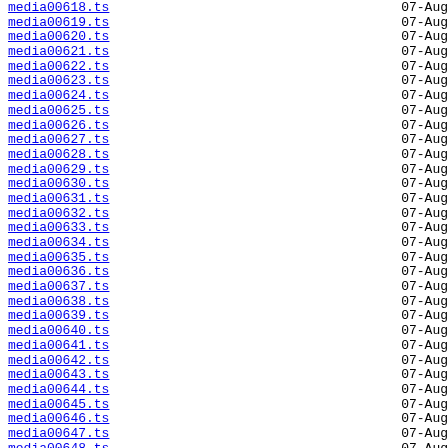media00618.ts  07-Aug
media00619.ts  07-Aug
media00620.ts  07-Aug
media00621.ts  07-Aug
media00622.ts  07-Aug
media00623.ts  07-Aug
media00624.ts  07-Aug
media00625.ts  07-Aug
media00626.ts  07-Aug
media00627.ts  07-Aug
media00628.ts  07-Aug
media00629.ts  07-Aug
media00630.ts  07-Aug
media00631.ts  07-Aug
media00632.ts  07-Aug
media00633.ts  07-Aug
media00634.ts  07-Aug
media00635.ts  07-Aug
media00636.ts  07-Aug
media00637.ts  07-Aug
media00638.ts  07-Aug
media00639.ts  07-Aug
media00640.ts  07-Aug
media00641.ts  07-Aug
media00642.ts  07-Aug
media00643.ts  07-Aug
media00644.ts  07-Aug
media00645.ts  07-Aug
media00646.ts  07-Aug
media00647.ts  07-Aug
media00648.ts  07-Aug